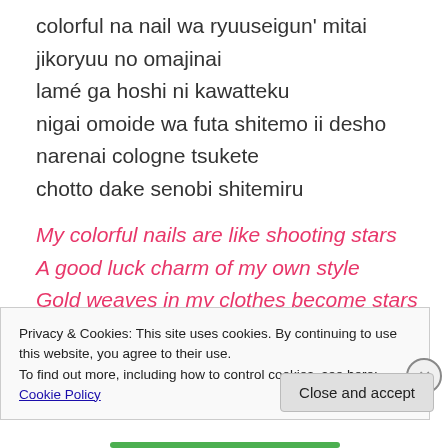colorful na nail wa ryuuseigun' mitai
jikoryuu no omajinai
lamé ga hoshi ni kawatteku
nigai omoide wa futa shitemo ii desho
narenai cologne tsukete
chotto dake senobi shitemiru
My colorful nails are like shooting stars
A good luck charm of my own style
Gold weaves in my clothes become stars
Nothing wrong with putting a lid on bitter memories, right?
Privacy & Cookies: This site uses cookies. By continuing to use this website, you agree to their use. To find out more, including how to control cookies, see here: Cookie Policy